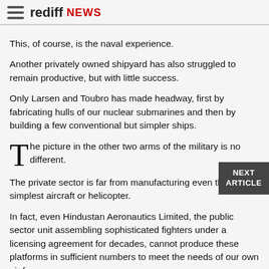rediff NEWS
This, of course, is the naval experience.
Another privately owned shipyard has also struggled to remain productive, but with little success.
Only Larsen and Toubro has made headway, first by fabricating hulls of our nuclear submarines and then by building a few conventional but simpler ships.
The picture in the other two arms of the military is no different.
The private sector is far from manufacturing even the simplest aircraft or helicopter.
In fact, even Hindustan Aeronautics Limited, the public sector unit assembling sophisticated fighters under a licensing agreement for decades, cannot produce these platforms in sufficient numbers to meet the needs of our own air force.
The question of exporting any of these then does not arise.